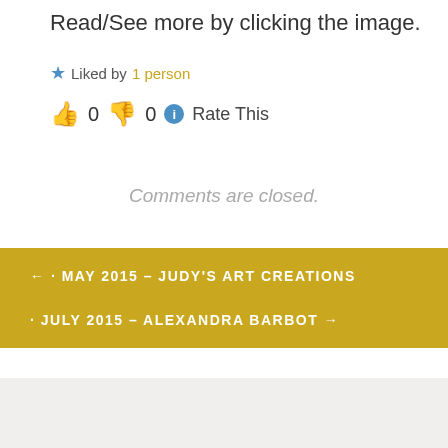Read/See more by clicking the image.
Liked by 1 person
0  0  Rate This
Comments are closed.
← · MAY 2015 – JUDY'S ART CREATIONS
· JULY 2015 – ALEXANDRA BARBOT →
Search